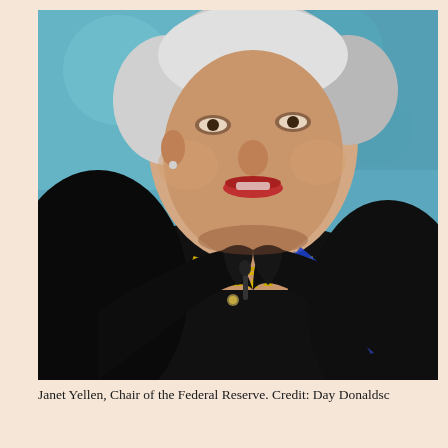[Figure (photo): Close-up photograph of Janet Yellen, Chair of the Federal Reserve, wearing a black jacket and gold necklace with a blue lanyard, speaking at an event with a teal/blue background.]
Janet Yellen, Chair of the Federal Reserve. Credit: Day Donaldsc